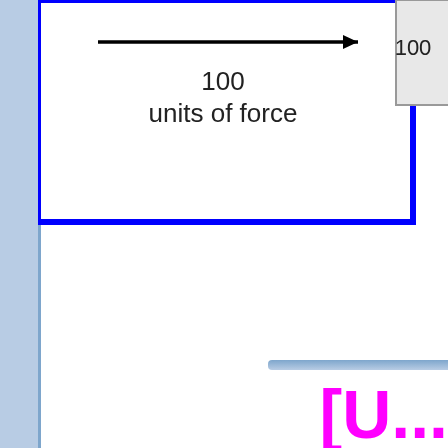[Figure (engineering-diagram): A force diagram showing a box (labeled 100) being pushed by 100 units of force indicated by a rightward arrow. A blue-bordered rectangle encloses the arrow and label. A gray box at the right edge contains '100'.]
[U...